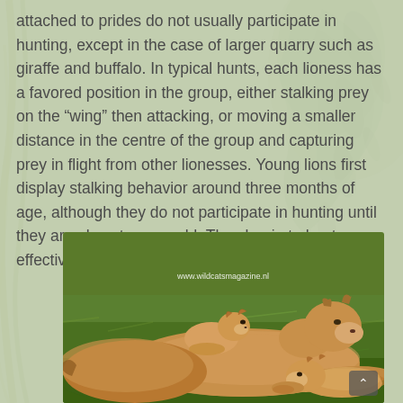attached to prides do not usually participate in hunting, except in the case of larger quarry such as giraffe and buffalo. In typical hunts, each lioness has a favored position in the group, either stalking prey on the “wing” then attacking, or moving a smaller distance in the centre of the group and capturing prey in flight from other lionesses. Young lions first display stalking behavior around three months of age, although they do not participate in hunting until they are almost a year old. They begin to hunt effectively when nearing the age of two.
[Figure (photo): A lioness lying on green grass with two lion cubs. One cub is resting on the lioness's back, another cub lies in front. Watermark reads www.wildcatsmagazine.nl. A scroll-to-top button is visible in the bottom right corner.]